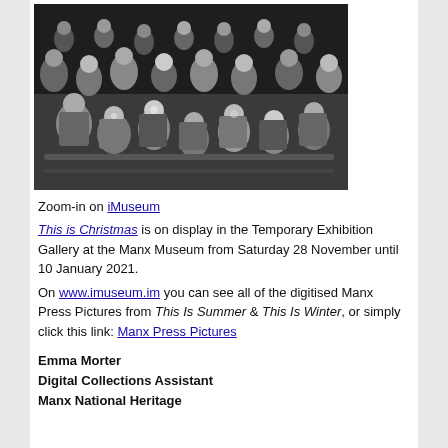[Figure (photo): Black and white photograph of a large group of children seated at tables, appearing to be at a Christmas party or similar event, crowded room with adults in background.]
Zoom-in on iMuseum
This is Christmas is on display in the Temporary Exhibition Gallery at the Manx Museum from Saturday 28 November until 10 January 2021.
On www.imuseum.im you can see all of the digitised Manx Press Pictures from This Is Summer & This Is Winter, or simply click this link: Manx Press Pictures
Emma Morter
Digital Collections Assistant
Manx National Heritage